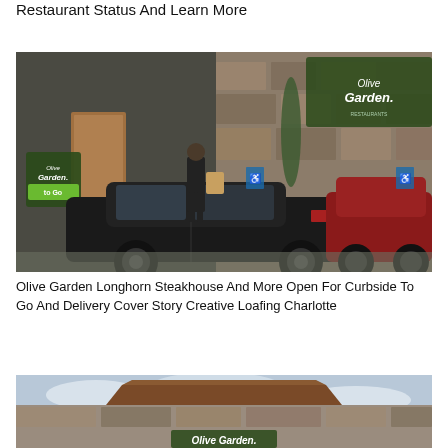Restaurant Status And Learn More
[Figure (photo): A person in dark clothing handing a bag to someone in a car at an Olive Garden 'To Go' curbside pickup area. A black sedan and a red SUV are parked outside the stone-facade restaurant.]
Olive Garden Longhorn Steakhouse And More Open For Curbside To Go And Delivery Cover Story Creative Loafing Charlotte
[Figure (photo): Exterior of an Olive Garden restaurant showing the rooftop and sign, partially cropped at bottom of page.]